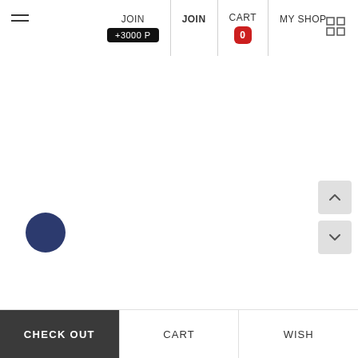Navigation bar with: hamburger menu, JOIN +3000 P, JOIN, CART 0, MY SHOP, grid icon
[Figure (screenshot): Main content area — white empty space with scroll up/down arrow buttons on right side, partial avatar circle bottom left]
CHECK OUT | CART | WISH